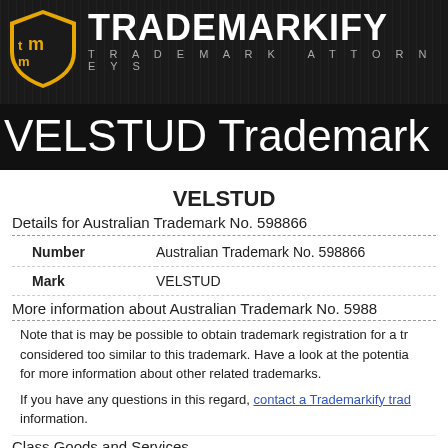[Figure (logo): Trademarkify logo with shield icon and company name, trademark attorneys]
VELSTUD Trademark
VELSTUD
Details for Australian Trademark No. 598866
| Field | Value |
| --- | --- |
| Number | Australian Trademark No. 598866 |
| Mark | VELSTUD |
More information about Australian Trademark No. 598866
Note that is may be possible to obtain trademark registration for a trademark considered too similar to this trademark. Have a look at the potential for more information about other related trademarks.
If you have any questions in this regard, contact a Trademarkify trademark attorney for more information.
Class Goods and Services